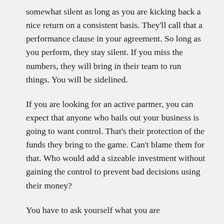somewhat silent as long as you are kicking back a nice return on a consistent basis. They'll call that a performance clause in your agreement. So long as you perform, they stay silent. If you miss the numbers, they will bring in their team to run things. You will be sidelined.
If you are looking for an active partner, you can expect that anyone who bails out your business is going to want control. That's their protection of the funds they bring to the game. Can't blame them for that. Who would add a sizeable investment without gaining the control to prevent bad decisions using their money?
You have to ask yourself what you are